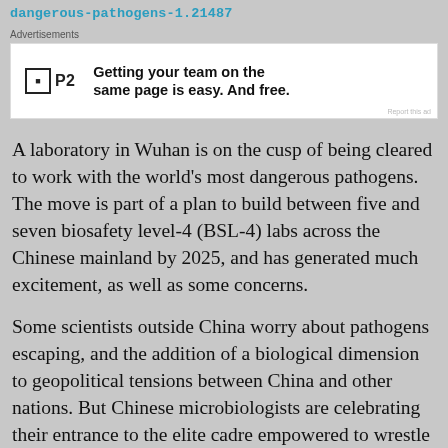dangerous-pathogens-1.21487
[Figure (other): Advertisement banner for P2: 'Getting your team on the same page is easy. And free.']
A laboratory in Wuhan is on the cusp of being cleared to work with the world's most dangerous pathogens. The move is part of a plan to build between five and seven biosafety level-4 (BSL-4) labs across the Chinese mainland by 2025, and has generated much excitement, as well as some concerns.
Some scientists outside China worry about pathogens escaping, and the addition of a biological dimension to geopolitical tensions between China and other nations. But Chinese microbiologists are celebrating their entrance to the elite cadre empowered to wrestle with the world's greatest biological threats